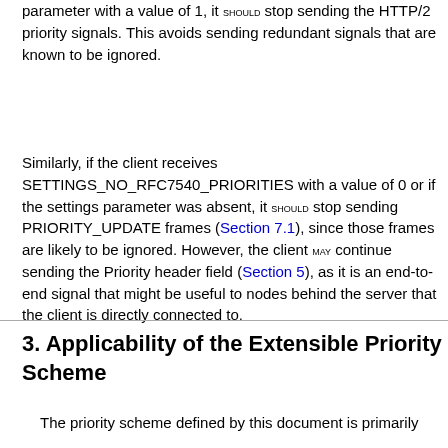parameter with a value of 1, it SHOULD stop sending the HTTP/2 priority signals. This avoids sending redundant signals that are known to be ignored.
Similarly, if the client receives SETTINGS_NO_RFC7540_PRIORITIES with a value of 0 or if the settings parameter was absent, it SHOULD stop sending PRIORITY_UPDATE frames (Section 7.1), since those frames are likely to be ignored. However, the client MAY continue sending the Priority header field (Section 5), as it is an end-to-end signal that might be useful to nodes behind the server that the client is directly connected to.
3. Applicability of the Extensible Priority Scheme
The priority scheme defined by this document is primarily